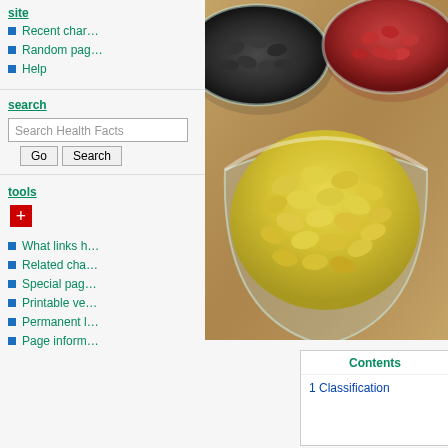site
Recent cha…
Random pa…
Help
search
[Figure (screenshot): Search box with placeholder 'Search Health Facts' and Go / Search buttons]
tools
[Figure (other): Red plus button icon]
What links h…
Related cha…
Special pag…
Printable ve…
Permanent l…
Page inform…
[Figure (photo): Photo of three glass bowls filled with different types of beans: black beans (top left), red kidney beans (top right), and yellow/soy beans (center foreground), on a wooden surface.]
| Contents |
| --- |
| 1  Classification |
Contents